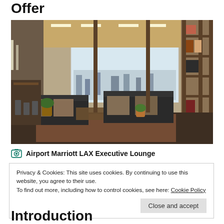Offer
[Figure (photo): Interior photo of Airport Marriott LAX Executive Lounge showing modern seating area with dark sofas, decorative pillows, wood bookshelf dividers, warm ceiling lighting, and floor-to-ceiling windows with city view in background.]
Airport Marriott LAX Executive Lounge
Privacy & Cookies: This site uses cookies. By continuing to use this website, you agree to their use.
To find out more, including how to control cookies, see here: Cookie Policy
Close and accept
Introduction